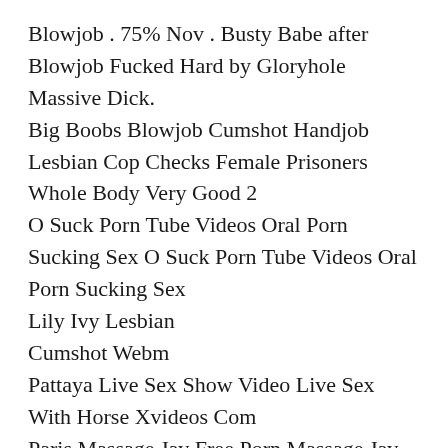Blowjob . 75% Nov . Busty Babe after Blowjob Fucked Hard by Gloryhole Massive Dick.
Big Boobs Blowjob Cumshot Handjob
Lesbian Cop Checks Female Prisoners Whole Body Very Good 2
O Suck Porn Tube Videos Oral Porn Sucking Sex O Suck Porn Tube Videos Oral Porn Sucking Sex
Lily Ivy Lesbian
Cumshot Webm
Pattaya Live Sex Show Video Live Sex With Horse Xvideos Com
Paris Massage Jav Free Porn Massage Jav Films Stream Asian
Xxx Lady Snow Porn Videos Free Lady Snow Sex Movies Iphone Porn 3
Sexy Mature Latina Milf